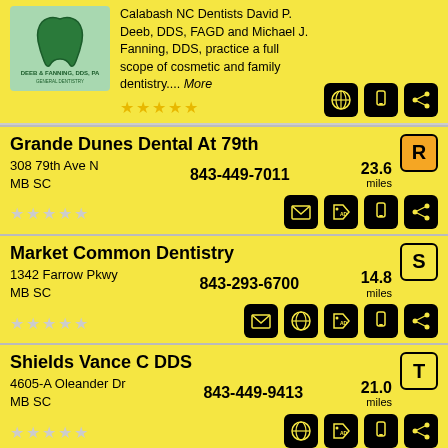[Figure (logo): Deeb & Fanning DDS PA General Dentistry logo with green background and tooth graphic]
Calabash NC Dentists David P. Deeb, DDS, FAGD and Michael J. Fanning, DDS, practice a full scope of cosmetic and family dentistry.... More
Grande Dunes Dental At 79th
308 79th Ave N
MB SC
843-449-7011
23.6 miles
Market Common Dentistry
1342 Farrow Pkwy
MB SC
843-293-6700
14.8 miles
Shields Vance C DDS
4605-A Oleander Dr
MB SC
843-449-9413
21.0 miles